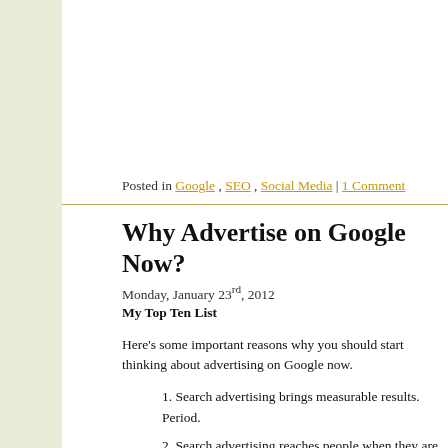Posted in Google, SEO, Social Media | 1 Comment
Why Advertise on Google Now?
Monday, January 23rd, 2012
My Top Ten List
Here's some important reasons why you should start thinking about advertising on Google now.
1. Search advertising brings measurable results.  Period.
2. Search advertising reaches people when they are looking for you.
3. Display advertising with Google gets your message and brand out to your target audience at a very good price.